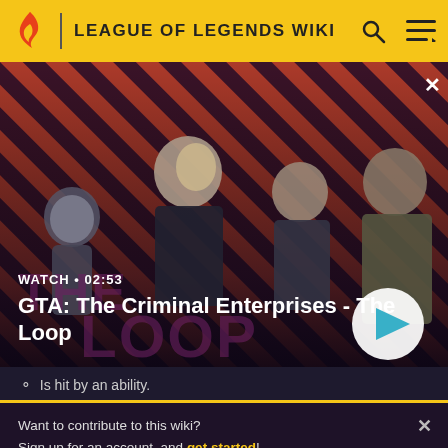LEAGUE OF LEGENDS WIKI
[Figure (screenshot): Video thumbnail showing GTA: The Criminal Enterprises - The Loop with characters on a diagonal stripe background. Shows WATCH • 02:53 label and a play button.]
Is hit by an ability.
Want to contribute to this wiki? Sign up for an account, and get started! You can even turn off ads in your preferences.